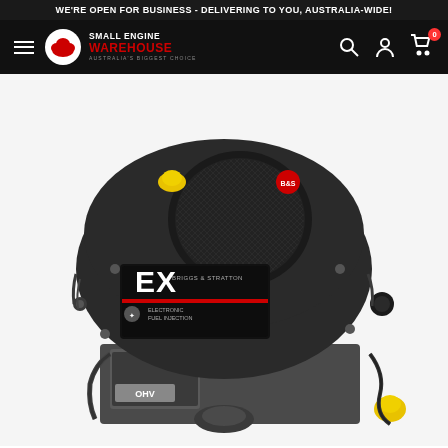WE'RE OPEN FOR BUSINESS - DELIVERING TO YOU, AUSTRALIA-WIDE!
[Figure (logo): Small Engine Warehouse logo with red cloud icon, white text 'SMALL ENGINE WAREHOUSE', red text 'WAREHOUSE', and tagline 'AUSTRALIA'S BIGGEST CHOICE']
[Figure (photo): Briggs & Stratton EX series vertical shaft small engine with black housing, yellow oil cap, mesh air filter cover, and red accent stripe on the label. Engine is shown at an angle on a white background.]